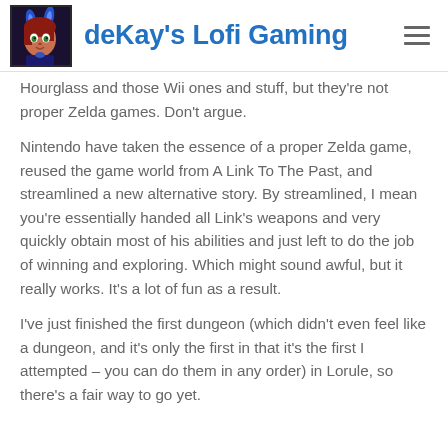deKay's Lofi Gaming
Hourglass and those Wii ones and stuff, but they're not proper Zelda games. Don't argue.
Nintendo have taken the essence of a proper Zelda game, reused the game world from A Link To The Past, and streamlined a new alternative story. By streamlined, I mean you're essentially handed all Link's weapons and very quickly obtain most of his abilities and just left to do the job of winning and exploring. Which might sound awful, but it really works. It's a lot of fun as a result.
I've just finished the first dungeon (which didn't even feel like a dungeon, and it's only the first in that it's the first I attempted – you can do them in any order) in Lorule, so there's a fair way to go yet.